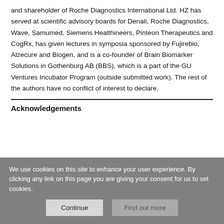and shareholder of Roche Diagnostics International Ltd. HZ has served at scientific advisory boards for Denali, Roche Diagnostics, Wave, Samumed, Siemens Healthineers, Pinteon Therapeutics and CogRx, has given lectures in symposia sponsored by Fujirebio, Alzecure and Biogen, and is a co-founder of Brain Biomarker Solutions in Gothenburg AB (BBS), which is a part of the GU Ventures Incubator Program (outside submitted work). The rest of the authors have no conflict of interest to declare.
Acknowledgements
...
We use cookies on this site to enhance your user experience. By clicking any link on this page you are giving your consent for us to set cookies.